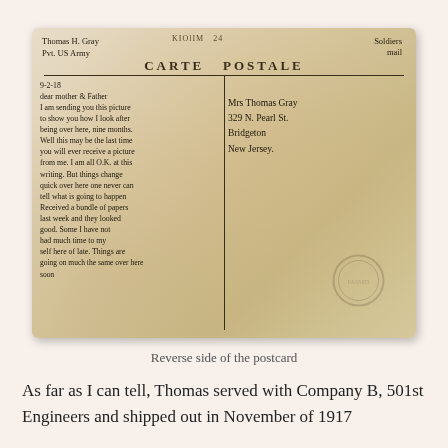[Figure (photo): Reverse (back) side of a WWI-era postcard. Shows aged cream/yellow cardstock with handwritten message on left half addressed to 'Dear mother & Father', and address on right half to 'Mrs Thomas Gray, 329 N. Pearl St., Bridgeton, New Jersey'. Top center reads 'CARTE POSTALE'. Top left has 'Thomas H. Gray, Pvt. US Army'. Top right says 'Soldiers mail'. Postcard is stamped and worn.]
Reverse side of the postcard
As far as I can tell, Thomas served with Company B, 501st Engineers and shipped out in November of 1917